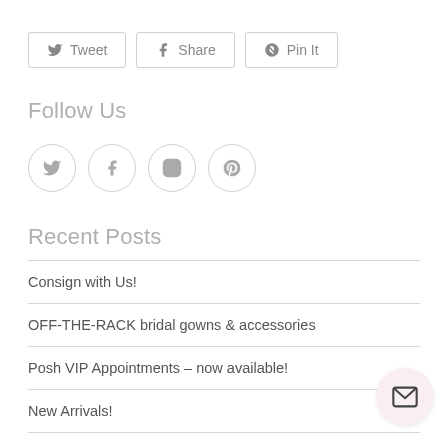[Figure (other): Social share buttons: Tweet, Share, Pin It]
Follow Us
[Figure (other): Social media icon buttons: Twitter, Facebook, Instagram, Pinterest]
Recent Posts
Consign with Us!
OFF-THE-RACK bridal gowns & accessories
Posh VIP Appointments – now available!
New Arrivals!